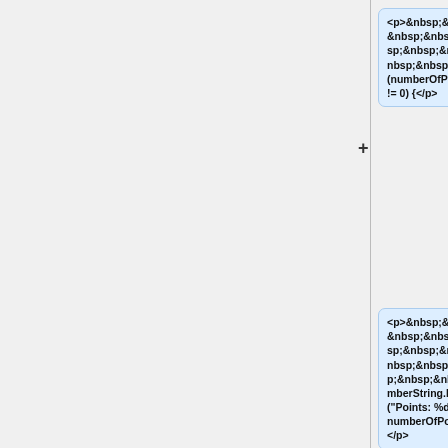<p>&nbsp;&nbsp;&nbsp;&nbsp;&nbsp;&nbsp;&nbsp;&nbsp;if (numberOfPoints != 0) {</p>
<p>&nbsp;&nbsp;&nbsp;&nbsp;&nbsp;&nbsp;&nbsp;&nbsp;&nbsp;&nbsp;numberString.Printf_("Points:  %d"), numberOfPoints);</p>
<p>&nbsp;&nbsp;&nbsp;&nbsp;&nbsp;&nbsp;&nbsp;&nbsp;&nbsp;&nbsp;dc->DrawText(numberString,